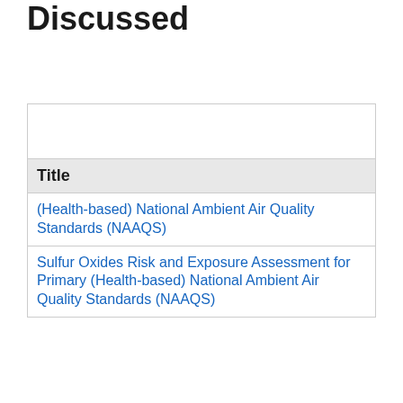Discussed
| Title |
| --- |
| (Health-based) National Ambient Air Quality Standards (NAAQS) |
| Sulfur Oxides Risk and Exposure Assessment for Primary (Health-based) National Ambient Air Quality Standards (NAAQS) |